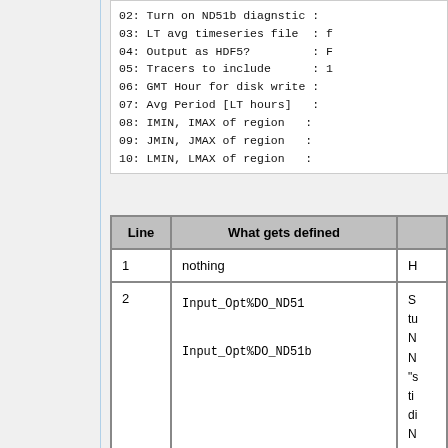02: Turn on ND51b diagnstic :
03: LT avg timeseries file  :
04: Output as HDF5?         :
05: Tracers to include      : 1
06: GMT Hour for disk write :
07: Avg Period [LT hours]   :
08: IMIN, IMAX of region   :
09: JMIN, JMAX of region   :
10: LMIN, LMAX of region   :
| Line | What gets defined |  |
| --- | --- | --- |
| 1 | nothing | H |
| 2 | Input_Opt%DO_ND51
Input_Opt%DO_ND51b | S
tu
N
N
"s
ti
di
N |